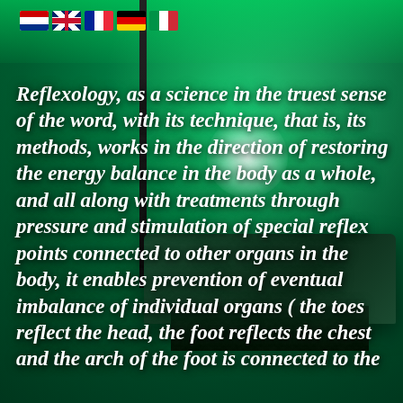[Figure (photo): Interior of a spa/wellness room with green ambient lighting, a dark massage table in the background, a glowing circular light fixture on the wall, and a dark vertical column/wall divider. The room has a modern aesthetic with green LED ceiling lights.]
Reflexology, as a science in the truest sense of the word, with its technique, that is, its methods, works in the direction of restoring the energy balance in the body as a whole, and all along with treatments through pressure and stimulation of special reflex points connected to other organs in the body, it enables prevention of eventual imbalance of individual organs ( the toes reflect the head, the foot reflects the chest and the arch of the foot is connected to the